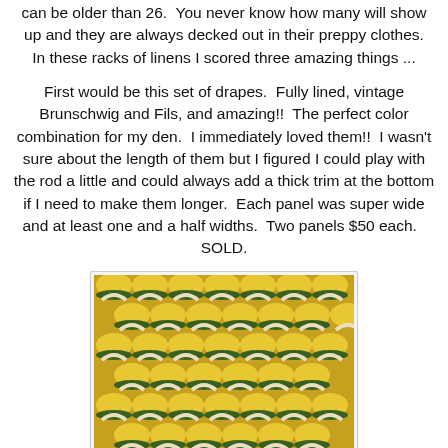can be older than 26. You never know how many will show up and they are always decked out in their preppy clothes. In these racks of linens I scored three amazing things ...
First would be this set of drapes. Fully lined, vintage Brunschwig and Fils, and amazing!! The perfect color combination for my den. I immediately loved them!! I wasn't sure about the length of them but I figured I could play with the rod a little and could always add a thick trim at the bottom if I need to make them longer. Each panel was super wide and at least one and a half widths. Two panels $50 each. SOLD.
[Figure (photo): Close-up photograph of vintage Brunschwig and Fils fabric with a yellow, green, and cream scallop/fan pattern textile]